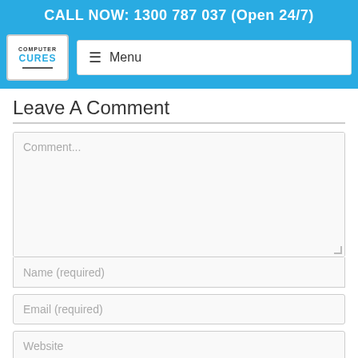CALL NOW: 1300 787 037 (Open 24/7)
[Figure (logo): Computer Cures logo with laptop icon]
≡ Menu
Leave A Comment
Comment...
Name (required)
Email (required)
Website